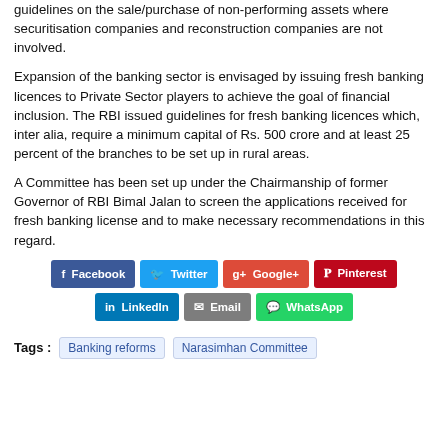guidelines on the sale/purchase of non-performing assets where securitisation companies and reconstruction companies are not involved.
Expansion of the banking sector is envisaged by issuing fresh banking licences to Private Sector players to achieve the goal of financial inclusion. The RBI issued guidelines for fresh banking licences which, inter alia, require a minimum capital of Rs. 500 crore and at least 25 percent of the branches to be set up in rural areas.
A Committee has been set up under the Chairmanship of former Governor of RBI Bimal Jalan to screen the applications received for fresh banking license and to make necessary recommendations in this regard.
[Figure (infographic): Social media share buttons: Facebook, Twitter, Google+, Pinterest, LinkedIn, Email, WhatsApp]
Tags : Banking reforms  Narasimhan Committee